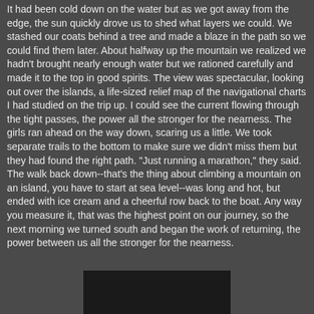It had been cold down on the water but as we got away from the edge, the sun quickly drove us to shed what layers we could. We stashed our coats behind a tree and made a blaze in the path so we could find them later. About halfway up the mountain we realized we hadn't brought nearly enough water but we rationed carefully and made it to the top in good spirits. The view was spectacular, looking out over the islands, a life-sized relief map of the navigational charts I had studied on the trip up. I could see the current flowing through the tight passes, the power all the stronger for the nearness. The girls ran ahead on the way down, scaring us a little. We took separate trails to the bottom to make sure we didn't miss them but they had found the right path. "Just running a marathon," they said. The walk back down--that's the thing about climbing a mountain on an island, you have to start at sea level--was long and hot, but ended with ice cream and a cheerful row back to the boat. Any way you measure it, that was the highest point on our journey, so the next morning we turned south and began the work of returning, the power between us all the stronger for the nearness.
[Figure (photo): A dark/black rectangular image at the bottom center of the page]